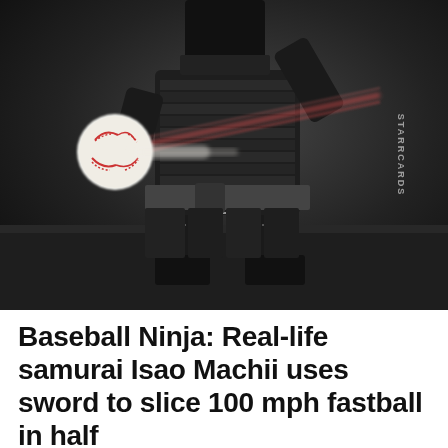[Figure (photo): Black and white photo of a samurai warrior in traditional armor striking a baseball with a sword, with motion blur on the ball and bat/sword, watermark 'STARRCARDS' visible on right side]
Baseball Ninja: Real-life samurai Isao Machii uses sword to slice 100 mph fastball in half
June 11th, 2018
[Figure (infographic): Social sharing buttons row: Facebook (blue), Twitter (light blue), LinkedIn (dark blue), Pinterest (red), Email (gray), and a scroll-to-top button (dark gray with up arrow chevron) on the right]
...